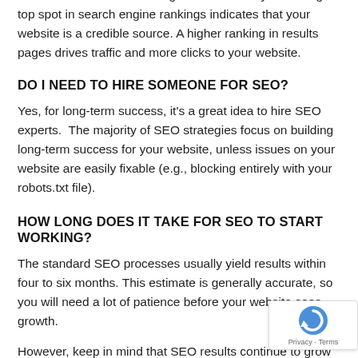Users trust these search engines – that's why achieving a top spot in search engine rankings indicates that your website is a credible source. A higher ranking in results pages drives traffic and more clicks to your website.
DO I NEED TO HIRE SOMEONE FOR SEO?
Yes, for long-term success, it's a great idea to hire SEO experts.  The majority of SEO strategies focus on building long-term success for your website, unless issues on your website are easily fixable (e.g., blocking entirely with your robots.txt file).
HOW LONG DOES IT TAKE FOR SEO TO START WORKING?
The standard SEO processes usually yield results within four to six months. This estimate is generally accurate, so you will need a lot of patience before your website sees growth.
However, keep in mind that SEO results continue to grow well